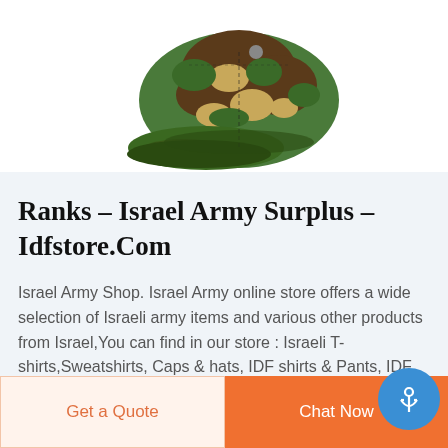[Figure (photo): A camouflage military-style baseball cap with green, brown, and tan camo pattern, shown against a white background, partially cropped at top.]
Ranks - Israel Army Surplus - Idfstore.Com
Israel Army Shop. Israel Army online store offers a wide selection of Israeli army items and various other products from Israel,You can find in our store : Israeli T-shirts,Sweatshirts, Caps & hats, IDF shirts & Pants, IDF boots,Fahys,Holsters,
Get a Quote
Chat Now